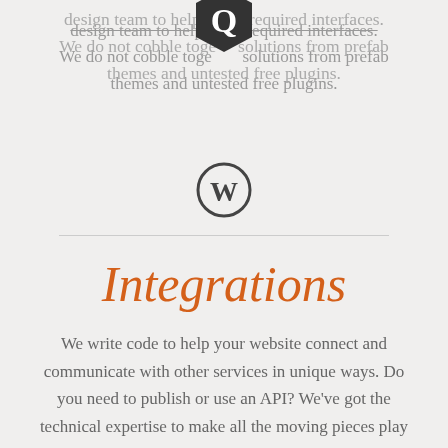design team to help build required interfaces. We do not cobble together solutions from prefab themes and untested free plugins.
[Figure (logo): Dark hexagonal Q logo at top center]
[Figure (logo): WordPress circular W logo]
Integrations
We write code to help your website connect and communicate with other services in unique ways. Do you need to publish or use an API? We've got the technical expertise to make all the moving pieces play nice.